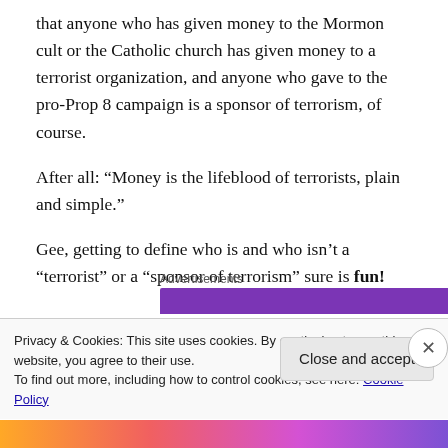that anyone who has given money to the Mormon cult or the Catholic church has given money to a terrorist organization, and anyone who gave to the pro-Prop 8 campaign is a sponsor of terrorism, of course.
After all: “Money is the lifeblood of terrorists, plain and simple.”
Gee, getting to define who is and who isn’t a “terrorist” or a “sponsor of terrorism” sure is fun!
Advertisements
Privacy & Cookies: This site uses cookies. By continuing to use this website, you agree to their use.
To find out more, including how to control cookies, see here: Cookie Policy
Close and accept